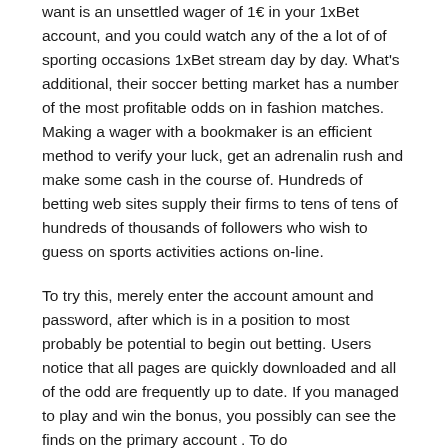want is an unsettled wager of 1€ in your 1xBet account, and you could watch any of the a lot of of sporting occasions 1xBet stream day by day. What's additional, their soccer betting market has a number of the most profitable odds on in fashion matches. Making a wager with a bookmaker is an efficient method to verify your luck, get an adrenalin rush and make some cash in the course of. Hundreds of betting web sites supply their firms to tens of tens of hundreds of thousands of followers who wish to guess on sports activities actions on-line.
To try this, merely enter the account amount and password, after which is in a position to most probably be potential to begin out betting. Users notice that all pages are quickly downloaded and all of the odd are frequently up to date. If you managed to play and win the bonus, you possibly can see the finds on the primary account . To do